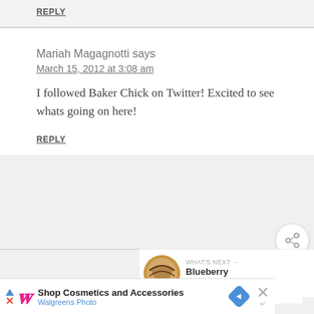REPLY
Mariah Magagnotti says
March 15, 2012 at 3:08 am
I followed Baker Chick on Twitter! Excited to see whats going on here!
REPLY
[Figure (other): Share button circle icon with share/plus symbol]
[Figure (other): What's Next widget showing a pie image and text 'Blueberry Cream Pie']
Mariah Magagnotti says
[Figure (other): Walgreens advertisement banner: Shop Cosmetics and Accessories, Walgreens Photo]